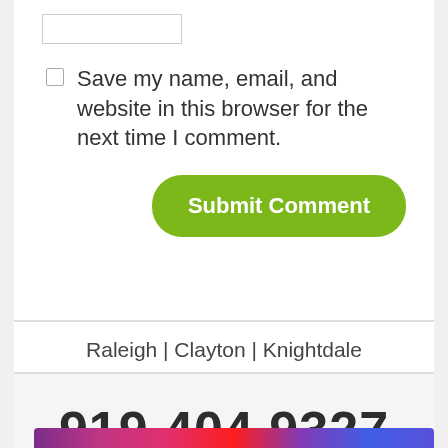[Figure (screenshot): Input text field (form field, partially visible at top)]
Save my name, email, and website in this browser for the next time I comment.
Submit Comment
Raleigh | Clayton | Knightdale
919.404.9327
[Figure (screenshot): Social media icons strip at bottom]